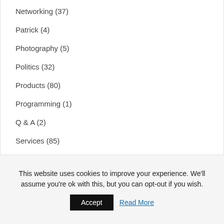Networking (37)
Patrick (4)
Photography (5)
Politics (32)
Products (80)
Programming (1)
Q & A (2)
Services (85)
Technology (58)
This website uses cookies to improve your experience. We'll assume you're ok with this, but you can opt-out if you wish.
Accept
Read More